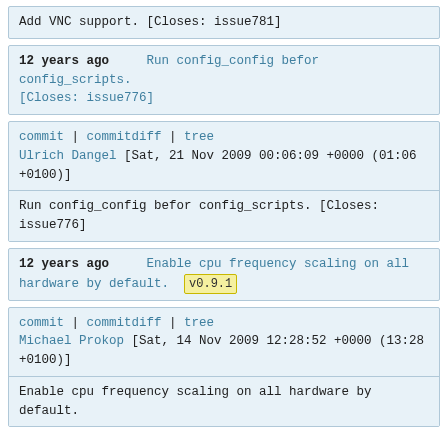Add VNC support. [Closes: issue781]
12 years ago    Run config_config befor config_scripts. [Closes: issue776]
commit | commitdiff | tree
Ulrich Dangel [Sat, 21 Nov 2009 00:06:09 +0000 (01:06 +0100)]
Run config_config befor config_scripts. [Closes: issue776]
12 years ago    Enable cpu frequency scaling on all hardware by default.  v0.9.1
commit | commitdiff | tree
Michael Prokop [Sat, 14 Nov 2009 12:28:52 +0000 (13:28 +0100)]
Enable cpu frequency scaling on all hardware by default.